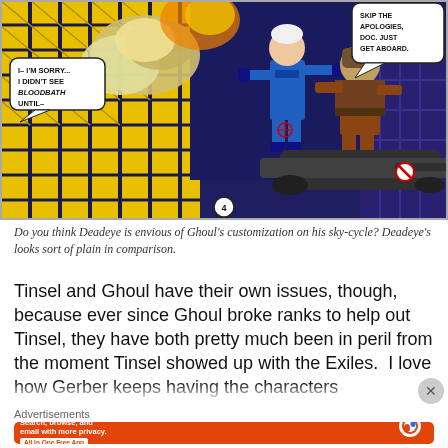[Figure (illustration): Comic book panel showing two costumed characters (one in blue, one in brown/red) on a sky-cycle flying over a city. Speech bubble on left reads 'I- I'M SORRY... I DIDN'T SEE BLOODBATH UNTIL--' and speech bubble on right reads 'SKIP THE APOLOGIES, DOC. JUST GET ABOARD.' An explosion is visible in the background. The cityscape has yellow-windowed skyscrapers.]
Do you think Deadeye is envious of Ghoul's customization on his sky-cycle? Deadeye's looks sort of plain in comparison.
Tinsel and Ghoul have their own issues, though, because ever since Ghoul broke ranks to help out Tinsel, they have both pretty much been in peril from the moment Tinsel showed up with the Exiles.  I love how Gerber keeps having the characters...
Advertisements
[Figure (screenshot): DuckDuckGo advertisement with orange background showing text 'Search, browse, and email with more privacy.' with a white button 'All in One Free App' and a phone image showing the DuckDuckGo duck logo, with DuckDuckGo. text below.]